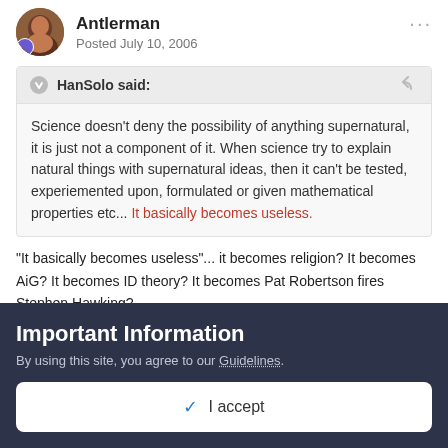Antlerman — Posted July 10, 2006
HanSolo said: Science doesn't deny the possibility of anything supernatural, it is just not a component of it. When science try to explain natural things with supernatural ideas, then it can't be tested, experiemented upon, formulated or given mathematical properties etc... It basically becomes useless.
"It basically becomes useless"... it becomes religion? It becomes AiG? It becomes ID theory? It becomes Pat Robertson fires Stephen Hawking?
If there is a natural explanation, then it isn't supernatural. So far
Important Information
By using this site, you agree to our Guidelines.
✓ I accept